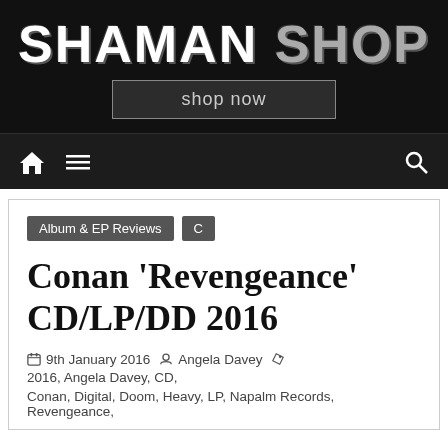[Figure (logo): Shaman Shop logo banner with distressed white text on black background and 'shop now' button]
Navigation bar with home, menu, and search icons
Album & EP Reviews   C
Conan 'Revengeance' CD/LP/DD 2016
9th January 2016   Angela Davey   2016, Angela Davey, CD, Conan, Digital, Doom, Heavy, LP, Napalm Records, Revengeance,